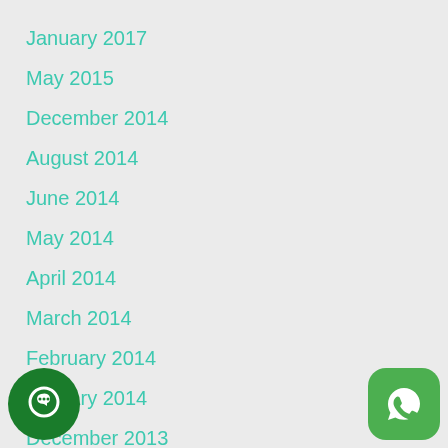January 2017
May 2015
December 2014
August 2014
June 2014
May 2014
April 2014
March 2014
February 2014
January 2014
December 2013
November 2013
October 2013
September 2013
2013